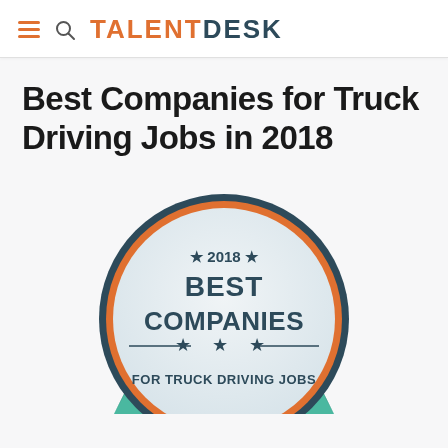TALENTDESK
Best Companies for Truck Driving Jobs in 2018
[Figure (illustration): Circular badge/seal with text '2018 BEST COMPANIES FOR TRUCK DRIVING JOBS' with star decorations and a teal ribbon banner at the bottom, styled as an award emblem]